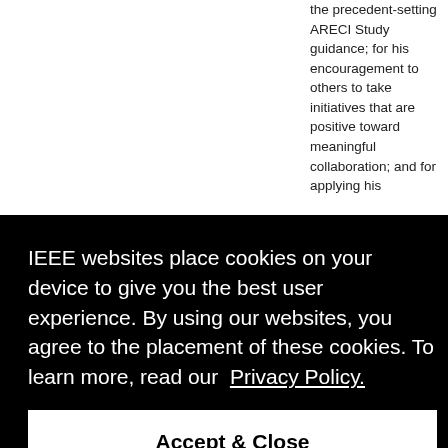the precedent-setting ARECI Study guidance; for his encouragement to others to take initiatives that are positive toward meaningful collaboration; and for applying his faculties [obscured by overlay] ...all of ...es as for policy
IEEE websites place cookies on your device to give you the best user experience. By using our websites, you agree to the placement of these cookies. To learn more, read our Privacy Policy.
Accept & Close
Technologies, Inc., USA     leadership in